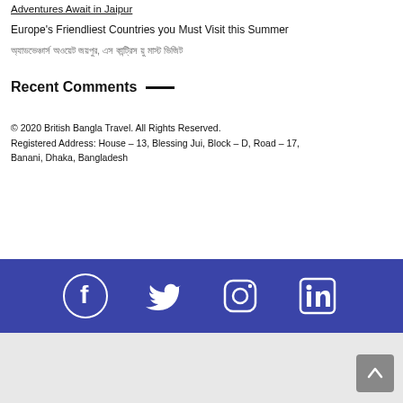Adventures Await in Jaipur
Europe's Friendliest Countries you Must Visit this Summer
অ্যাডভেঞ্চার্স অওয়েট জয়পুর, এস কান্ট্রিস য়ু মাস্ট ভিজিট
Recent Comments
© 2020 British Bangla Travel. All Rights Reserved.
Registered Address: House – 13, Blessing Jui, Block – D, Road – 17, Banani, Dhaka, Bangladesh
[Figure (infographic): Social media icons bar with Facebook, Twitter, Instagram, LinkedIn icons in white on blue background]
[Figure (other): Scroll to top button (arrow up) on gray background]